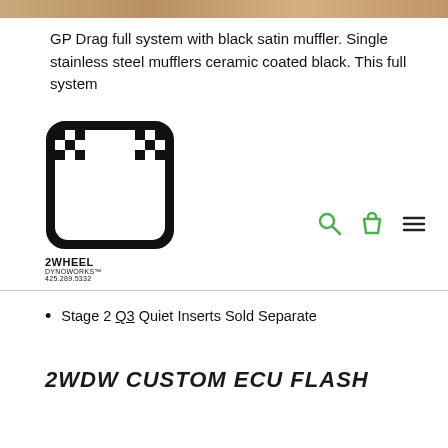[Figure (photo): Top banner photo strip showing motorcycle exhaust product]
GP Drag full system with black satin muffler. Single stainless steel mufflers ceramic coated black. This full system
[Figure (logo): 2Wheel Dynoworks logo - black rounded square with stylized '2' and checkered pattern, text reads '2WHEEL DYNOWORKS 425.289.5332']
Stage 2 Q3 Quiet Inserts Sold Separate
2WDW CUSTOM ECU FLASH